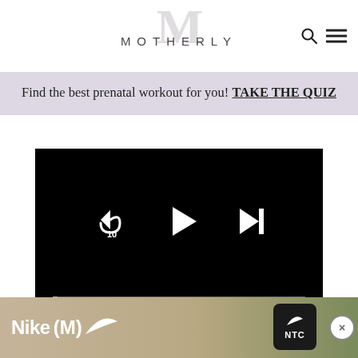MOTHERLY
Find the best prenatal workout for you! TAKE THE QUIZ
[Figure (screenshot): Video player showing playback controls: rewind 10 seconds, play button, skip forward button, progress bar at 00:00 / 02:52, and bottom controls for mute, share, chapters, settings, and fullscreen.]
to college. I promised myself never to go back to live with m
[Figure (photo): Nike advertisement banner showing Nike (M) logo with swoosh, military/camo background, NTC button, and close X button.]